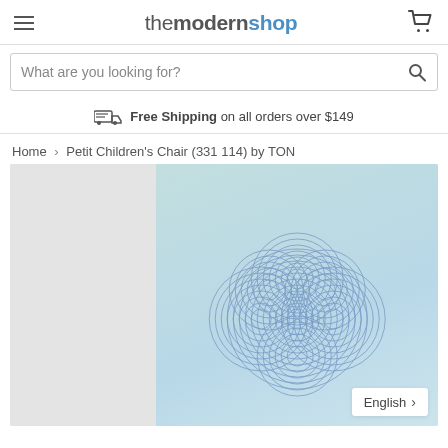themodernshop
What are you looking for?
Free Shipping on all orders over $149
Home > Petit Children's Chair (331 114) by TON
[Figure (photo): Product page screenshot showing a decorative wall art piece with blue concentric circular spiral patterns on a light teal/mint background, displayed on themodernshop website.]
English >